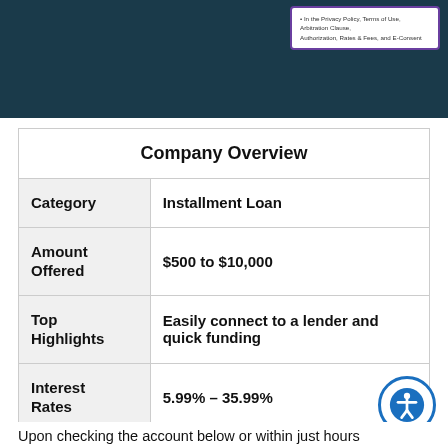[Figure (photo): Dark teal/navy header banner with a white card in the upper right corner showing text about Privacy Policy, Terms of Use, Arbitration Clause, Authorization, Rates & Fees, and E-Consent]
| Company Overview |  |
| --- | --- |
| Category | Installment Loan |
| Amount Offered | $500 to $10,000 |
| Top Highlights | Easily connect to a lender and quick funding |
| Interest Rates | 5.99% – 35.99% |
| Term Length | 3 to 60 Months |
Upon checking the account below or within just hours